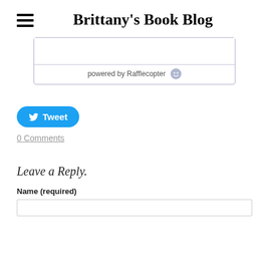Brittany's Book Blog
[Figure (screenshot): Rafflecopter widget box with 'powered by Rafflecopter' footer and small smiley icon]
[Figure (screenshot): Twitter Tweet button (blue, rounded, with bird icon and 'Tweet' text)]
0 Comments
Leave a Reply.
Name (required)